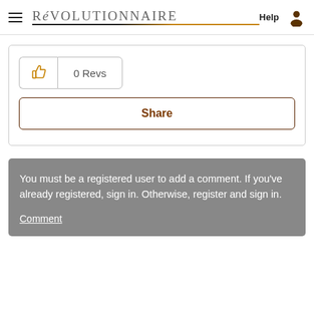RéVOLUTIONNAIRE  Help [user icon]
[Figure (screenshot): Like button with thumbs up icon and 0 Revs count, followed by Share button]
You must be a registered user to add a comment. If you've already registered, sign in. Otherwise, register and sign in.
Comment